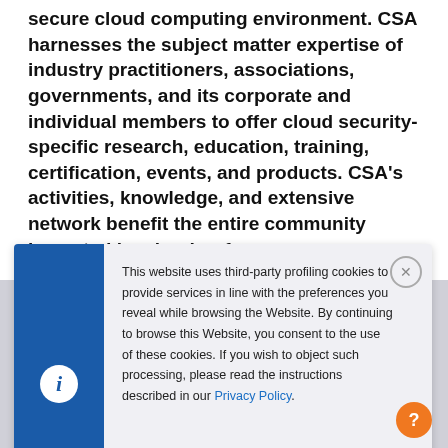secure cloud computing environment. CSA harnesses the subject matter expertise of industry practitioners, associations, governments, and its corporate and individual members to offer cloud security-specific research, education, training, certification, events, and products. CSA's activities, knowledge, and extensive network benefit the entire community impacted by cloud — from
This website uses third-party profiling cookies to provide services in line with the preferences you reveal while browsing the Website. By continuing to browse this Website, you consent to the use of these cookies. If you wish to object such processing, please read the instructions described in our Privacy Policy.
I understand